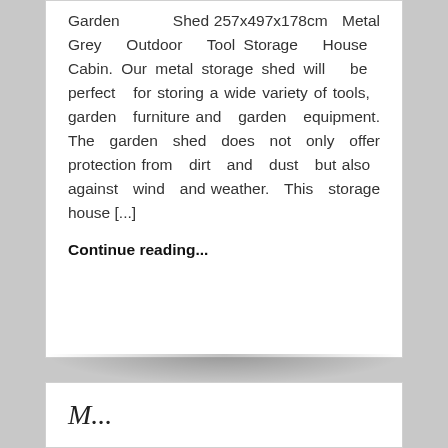Garden Shed 257x497x178cm Metal Grey Outdoor Tool Storage House Cabin. Our metal storage shed will be perfect for storing a wide variety of tools, garden furniture and garden equipment. The garden shed does not only offer protection from dirt and dust but also against wind and weather. This storage house [...]
Continue reading...
M...